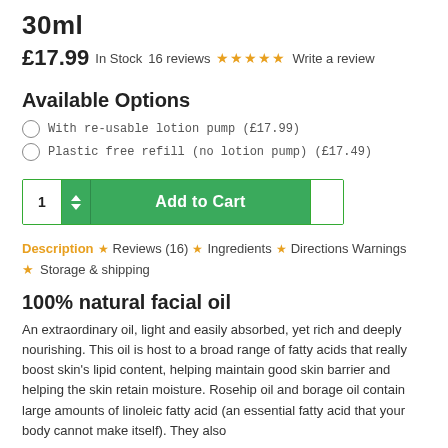30ml
£17.99 In Stock 16 reviews ★★★★★ Write a review
Available Options
With re-usable lotion pump (£17.99)
Plastic free refill (no lotion pump) (£17.49)
1 [Add to Cart]
Description ★ Reviews (16) ★ Ingredients ★ Directions Warnings
★ Storage & shipping
100% natural facial oil
An extraordinary oil, light and easily absorbed, yet rich and deeply nourishing. This oil is host to a broad range of fatty acids that really boost skin's lipid content, helping maintain good skin barrier and helping the skin retain moisture. Rosehip oil and borage oil contain large amounts of linoleic fatty acid (an essential fatty acid that your body cannot make itself). They also